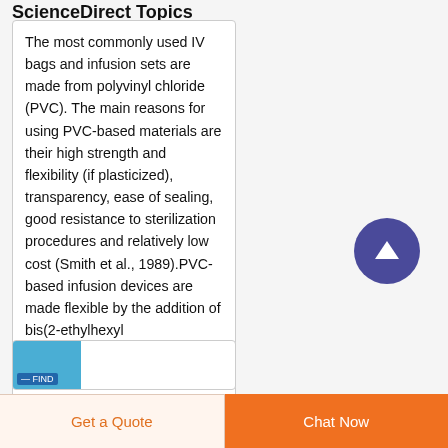ScienceDirect Topics
The most commonly used IV bags and infusion sets are made from polyvinyl chloride (PVC). The main reasons for using PVC-based materials are their high strength and flexibility (if plasticized), transparency, ease of sealing, good resistance to sterilization procedures and relatively low cost (Smith et al., 1989).PVC-based infusion devices are made flexible by the addition of bis(2-ethylhexyl
[Figure (screenshot): Scroll to top button - circular purple button with upward arrow icon]
[Figure (screenshot): Partial thumbnail image at bottom of page, blue colored]
Get a Quote
Chat Now